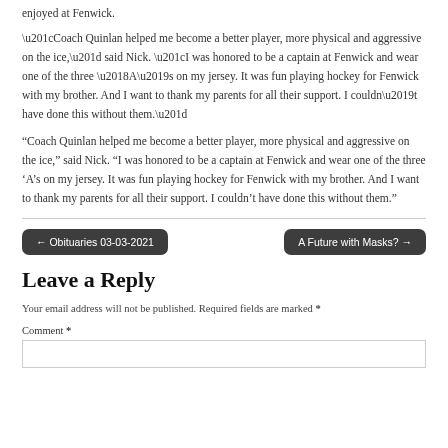enjoyed at Fenwick.
“Coach Quinlan helped me become a better player, more physical and aggressive on the ice,” said Nick. “I was honored to be a captain at Fenwick and wear one of the three ‘A’s on my jersey. It was fun playing hockey for Fenwick with my brother. And I want to thank my parents for all their support. I couldn’t have done this without them.”
← Obituaries 03-03-2021
A Future with Masks? →
Leave a Reply
Your email address will not be published. Required fields are marked *
Comment *